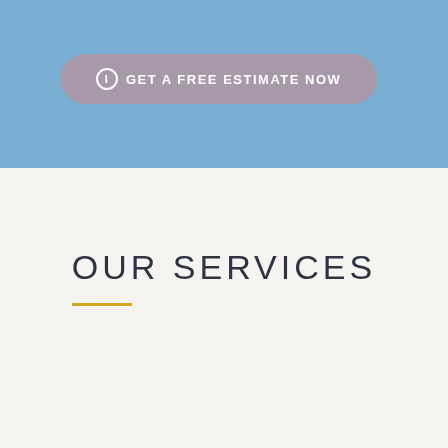[Figure (other): Blue background hero section with a rounded pill-shaped button labeled 'GET A FREE ESTIMATE NOW' with an info icon, on a medium blue background]
OUR SERVICES